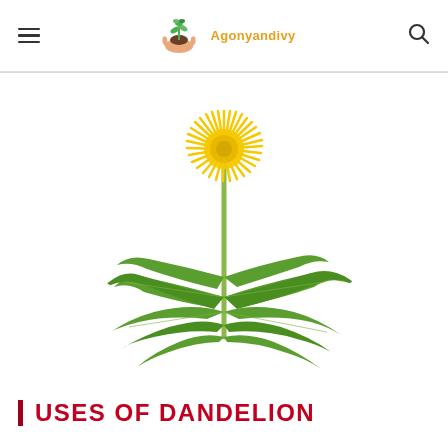Agonyandivy
[Figure (photo): A dandelion plant with bright yellow flower head on a tall green stem, with large serrated green leaves spreading outward at the base, photographed on a white background.]
USES OF DANDELION